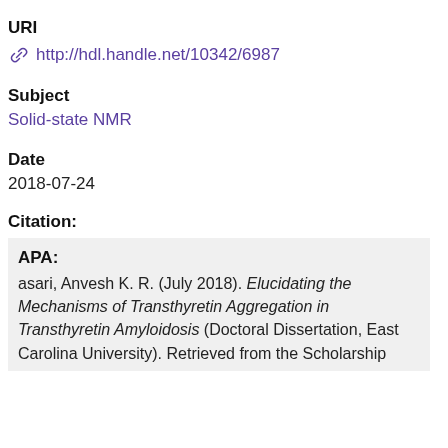URI
http://hdl.handle.net/10342/6987
Subject
Solid-state NMR
Date
2018-07-24
Citation:
APA:
asari, Anvesh K. R. (July 2018). Elucidating the Mechanisms of Transthyretin Aggregation in Transthyretin Amyloidosis (Doctoral Dissertation, East Carolina University). Retrieved from the Scholarship